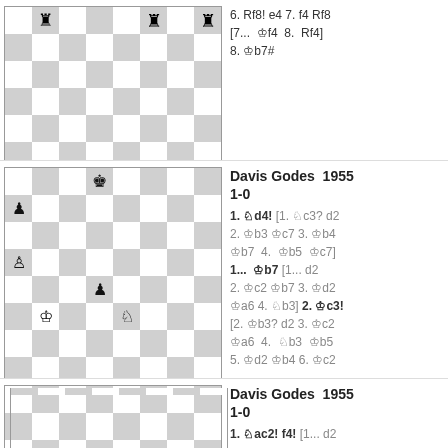[Figure (other): Chess board position (top section, partial), with navigation controls <<, <, +, >, >>]
6. Rf8! e4 7. f4 Rf8 [7... Kf4 8. Rf4] 8. Kb7#
[Figure (other): Chess board position showing: black king on d7, black pawn on a5, white pawn on a4, black pawn on d4, white king on b3, white knight on e3. Navigation controls <<, <, +, >, >>]
Davis Godes 1955 1-0
1. Nd4! [1. Nc3? d2 2. Kb3 Kc7 3. Kb4 Kb7 4. Kb5 Kc7] 1... Kb7 [1... d2 2. Kc2 Kb7 3. Kd2 Ka6 4. Nb3] 2. Kc3! [2. Kb3? d2 3. Kc2 Ka6 4. Nb3 Kb5 5. Kd2 Kb4 6. Kc2
[Figure (other): Chess board position (bottom section) showing: black king on a3, white pawn on b3, white king on d3]
Davis Godes 1955 1-0
1. Nac2! f4! [1... d2